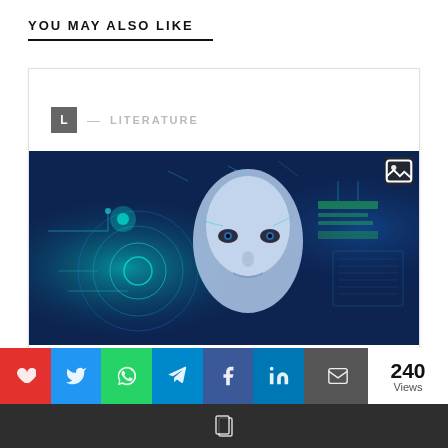YOU MAY ALSO LIKE
[Figure (screenshot): Card with 'L' badge, LITERATURE label, and an AI robot/human face illustration with circuit board elements on a blue background]
Privacy & Cookies: This site uses cookies. By continuing to use this website, you agree to their use. To find out more, including privacy and
[Figure (infographic): Social sharing bar with heart (red), Twitter (blue), WhatsApp (green), Telegram (teal), Facebook (blue), LinkedIn (navy), email (dark) buttons, and 240 Views counter]
240 Views